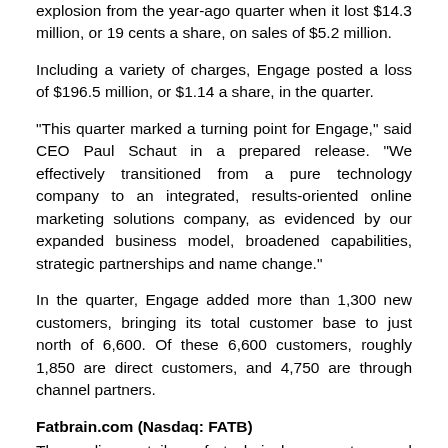explosion from the year-ago quarter when it lost $14.3 million, or 19 cents a share, on sales of $5.2 million.
Including a variety of charges, Engage posted a loss of $196.5 million, or $1.14 a share, in the quarter.
"This quarter marked a turning point for Engage," said CEO Paul Schaut in a prepared release. "We effectively transitioned from a pure technology company to an integrated, results-oriented online marketing solutions company, as evidenced by our expanded business model, broadened capabilities, strategic partnerships and name change."
In the quarter, Engage added more than 1,300 new customers, bringing its total customer base to just north of 6,600. Of these 6,600 customers, roughly 1,850 are direct customers, and 4,750 are through channel partners.
Fatbrain.com (Nasdaq: FATB)
The online retailer of technical, computer, and scientific...